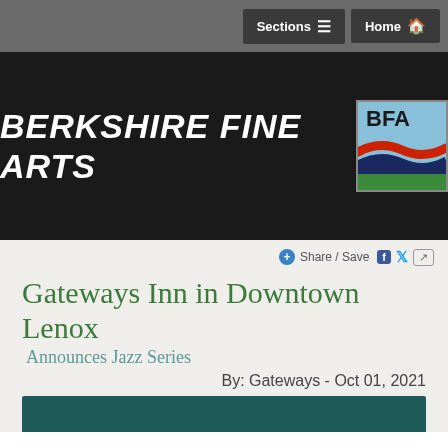Sections ≡  Home 🏠
[Figure (logo): Berkshire Fine Arts logo: white stylized text 'Berkshire Fine Arts' in italic bold on black background, next to a square BFA logo with blue sky, red wave, dark blue wave, and green hills]
Share / Save
Gateways Inn in Downtown Lenox
Announces Jazz Series
By: Gateways - Oct 01, 2021
[Figure (photo): Partial view of an image with dark teal/green background at the bottom of the page]